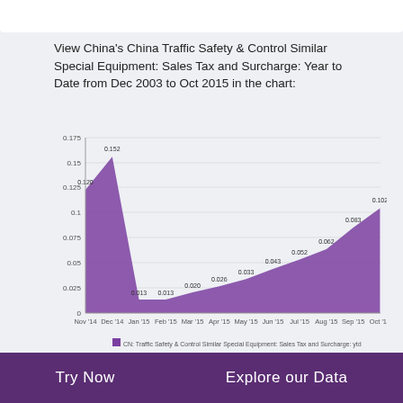View China's China Traffic Safety & Control Similar Special Equipment: Sales Tax and Surcharge: Year to Date from Dec 2003 to Oct 2015 in the chart:
[Figure (area-chart): CN: Traffic Safety & Control Similar Special Equipment: Sales Tax and Surcharge: ytd]
China Traffic Safety & Control Similar Special
Try Now    Explore our Data